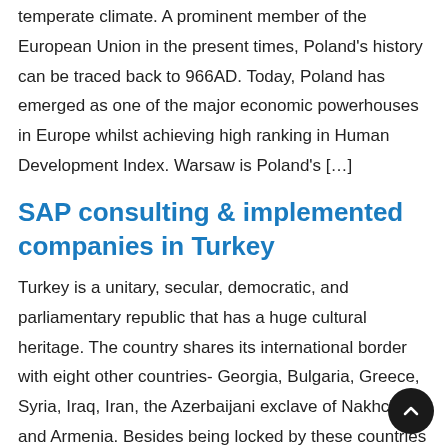temperate climate. A prominent member of the European Union in the present times, Poland's history can be traced back to 966AD. Today, Poland has emerged as one of the major economic powerhouses in Europe whilst achieving high ranking in Human Development Index. Warsaw is Poland's [...]
SAP consulting & implemented companies in Turkey
Turkey is a unitary, secular, democratic, and parliamentary republic that has a huge cultural heritage. The country shares its international border with eight other countries- Georgia, Bulgaria, Greece, Syria, Iraq, Iran, the Azerbaijani exclave of Nakhchivan and Armenia. Besides being locked by these countries on most of its sides, Turkey is encircled by se...